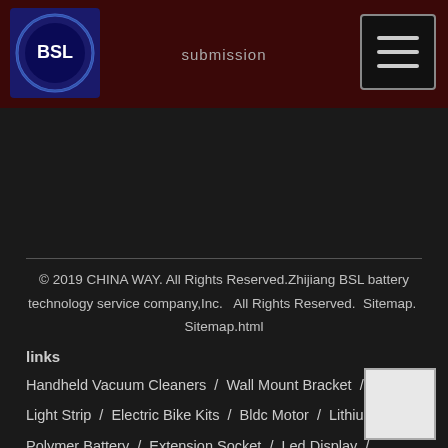submission
[Figure (logo): BSL circular logo on dark blue background]
© 2019 CHINA WAY. All Rights Reserved.Zhijiang BSL battery technology service company,Inc.  All Rights Reserved.  Sitemap.  Sitemap.html
links￼
Handheld Vacuum Cleaners  /  Wall Mount Bracket  /  Wifi Light Strip  /  Electric Bike Kits  /  Bldc Motor  /  Lithium Polymer Battery  /  Extension Socket  /  Led Display  /